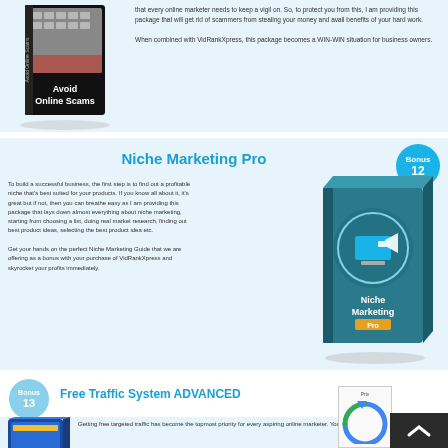[Figure (illustration): Product box image for 'Avoid Online Scams' showing a keyboard with red elements and black box packaging]
that every online marketer needs to keep a vigil on. So, to protect you from this, I am providing this package that will get rid of scammers from stealing your money and avail benefits of your hard work.

When combined with VidRankXpress, this package becomes a WIN-WIN situation for business owners.
Niche Marketing Pro
[Figure (illustration): Bonus 12 speech bubble badge in teal/blue color]
To build a successful business, the first step is to find out a profitable niche that's best suited for your products. If you know all about it, it's great but if not, then you can breathe easy as I am providing this package that lays down almost everything about niche marketing, starting from choosing a list, doing real market research, finding out best product ideas, selecting the best product idea etc.

Get your hands on the perfect Niche Marketing Guide that we are offering as a bonus with your purchase of VidRankXpress and skyrocket your profits immediately.
[Figure (illustration): Product box image for 'Niche Marketing Pro' - teal/dark blue box with marketing icons]
[Figure (illustration): Bonus 13 speech bubble badge in light blue color]
Free Traffic System ADVANCED
[Figure (illustration): Product box image for 'Free Traffic System' - blue/yellow box]
Getting free targeted traffic has become the topmost priority for every aspiring online marketer. You can have the best